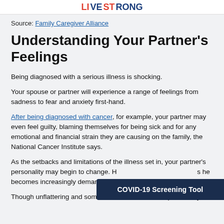LIVESTRONG (logo)
Source: Family Caregiver Alliance
Understanding Your Partner's Feelings
Being diagnosed with a serious illness is shocking.
Your spouse or partner will experience a range of feelings from sadness to fear and anxiety first-hand.
After being diagnosed with cancer, for example, your partner may even feel guilty, blaming themselves for being sick and for any emotional and financial strain they are causing on the family, the National Cancer Institute says.
As the setbacks and limitations of the illness set in, your partner's personality may begin to change. H… he becomes increasingly demandin…
Though unflattering and sometimes offensive, these personality
[Figure (other): COVID-19 Screening Tool overlay button in dark navy blue]